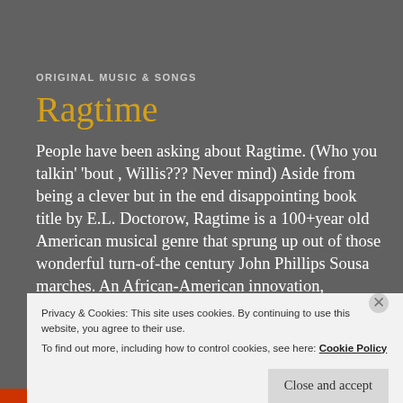ORIGINAL MUSIC & SONGS
Ragtime
People have been asking about Ragtime. (Who you talkin' 'bout , Willis??? Never mind) Aside from being a clever but in the end disappointing book title by E.L. Doctorow, Ragtime is a 100+year old American musical genre that sprung up out of those wonderful turn-of-the century John Phillips Sousa marches. An African-American innovation, Ragtime
Privacy & Cookies: This site uses cookies. By continuing to use this website, you agree to their use.
To find out more, including how to control cookies, see here: Cookie Policy
Close and accept